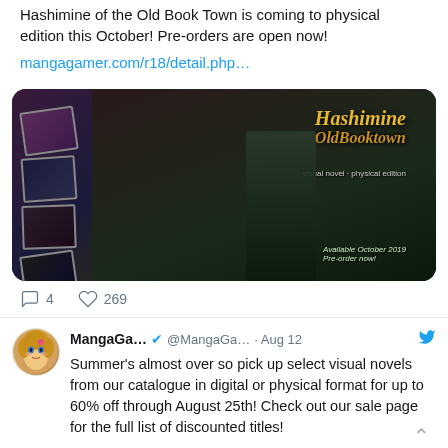Hashimine of the Old Book Town is coming to physical edition this October! Pre-orders are open now!
mangagamer.com/r18/detail.php…
[Figure (photo): Promotional image for Hashimine of the Old Book Town physical edition, showing manga/visual novel artwork with characters and photo strips on a dark background with stylized title text]
4   269
MangaGa… @MangaGa… · Aug 12
Summer's almost over so pick up select visual novels from our catalogue in digital or physical format for up to 60% off through August 25th! Check out our sale page for the full list of discounted titles!